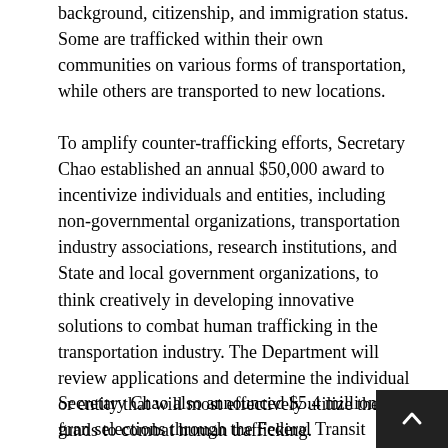background, citizenship, and immigration status. Some are trafficked within their own communities on various forms of transportation, while others are transported to new locations.
To amplify counter-trafficking efforts, Secretary Chao established an annual $50,000 award to incentivize individuals and entities, including non-governmental organizations, transportation industry associations, research institutions, and State and local government organizations, to think creatively in developing innovative solutions to combat human trafficking in the transportation industry. The Department will review applications and determine the individual or entity that will most effectively utilize these funds to combat human trafficking.
Secretary Chao also announced $5.4 million in grant selections through the Federal Transit